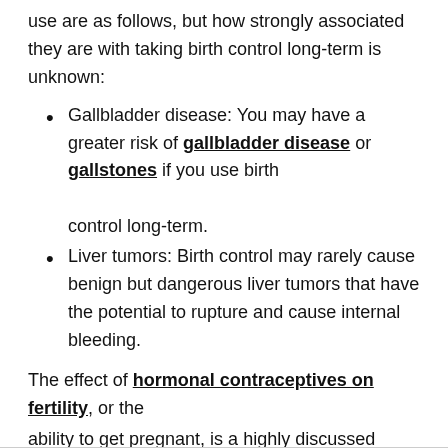use are as follows, but how strongly associated they are with taking birth control long-term is unknown:
Gallbladder disease: You may have a greater risk of gallbladder disease or gallstones if you use birth control long-term.
Liver tumors: Birth control may rarely cause benign but dangerous liver tumors that have the potential to rupture and cause internal bleeding.
The effect of hormonal contraceptives on fertility, or the ability to get pregnant, is a highly discussed topic, and many misconceptions exist. While hormonal birth control is designed to lower your fertility while you take it (so you don't get pregnant), your fertility will most often return to normal within a matter of weeks to months after